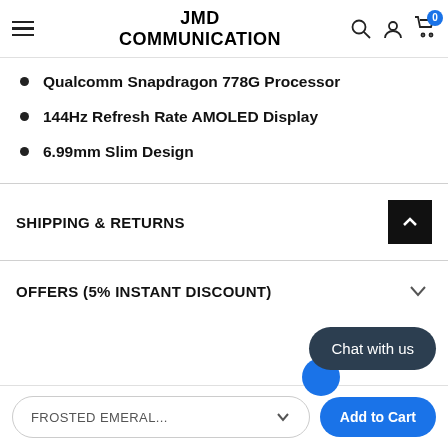JMD COMMUNICATION
Qualcomm Snapdragon 778G Processor
144Hz Refresh Rate AMOLED Display
6.99mm Slim Design
SHIPPING & RETURNS
OFFERS (5% INSTANT DISCOUNT)
Chat with us
FROSTED EMERAL...
Add to Cart